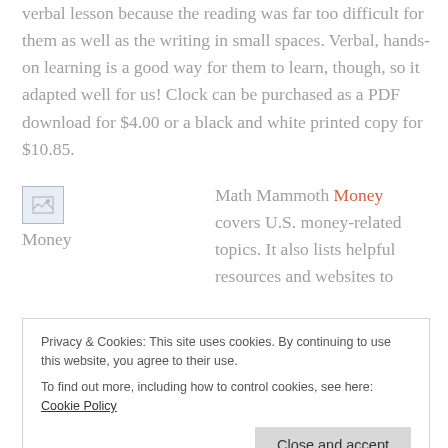verbal lesson because the reading was far too difficult for them as well as the writing in small spaces. Verbal, hands-on learning is a good way for them to learn, though, so it adapted well for us! Clock can be purchased as a PDF download for $4.00 or a black and white printed copy for $10.85.
[Figure (illustration): Broken image placeholder labeled 'Money']
Math Mammoth Money covers U.S. money-related topics. It also lists helpful resources and websites to
Privacy & Cookies: This site uses cookies. By continuing to use this website, you agree to their use.
To find out more, including how to control cookies, see here: Cookie Policy
encouraged to use real money in many of the